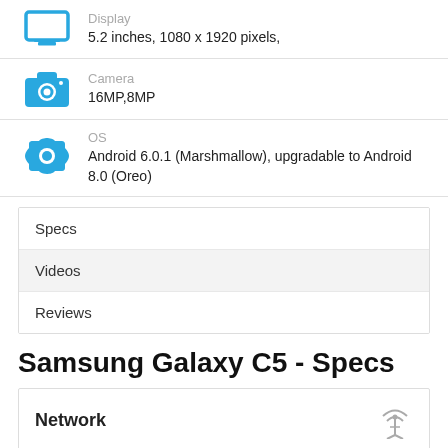Display: 5.2 inches, 1080 x 1920 pixels,
Camera: 16MP,8MP
OS: Android 6.0.1 (Marshmallow), upgradable to Android 8.0 (Oreo)
Specs
Videos
Reviews
Samsung Galaxy C5 - Specs
Network